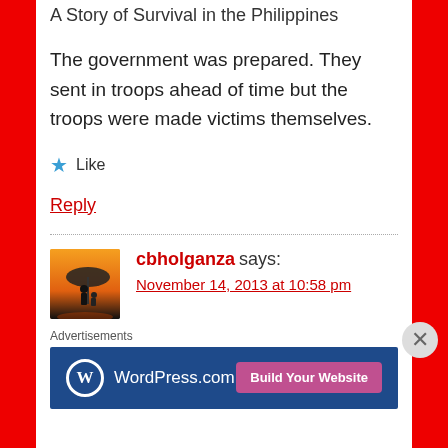A Story of Survival in the Philippines
The government was prepared. They sent in troops ahead of time but the troops were made victims themselves.
★ Like
Reply
cbholganza says:
November 14, 2013 at 10:58 pm
Advertisements
[Figure (logo): WordPress.com advertisement banner with Build Your Website button]